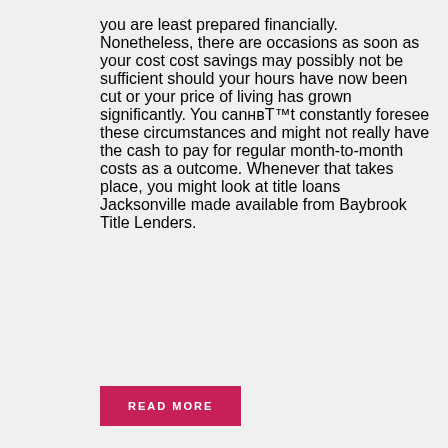you are least prepared financially. Nonetheless, there are occasions as soon as your cost cost savings may possibly not be sufficient should your hours have now been cut or your price of living has grown significantly. You canвЂ™t constantly foresee these circumstances and might not really have the cash to pay for regular month-to-month costs as a outcome. Whenever that takes place, you might look at title loans Jacksonville made available from Baybrook Title Lenders.
READ MORE